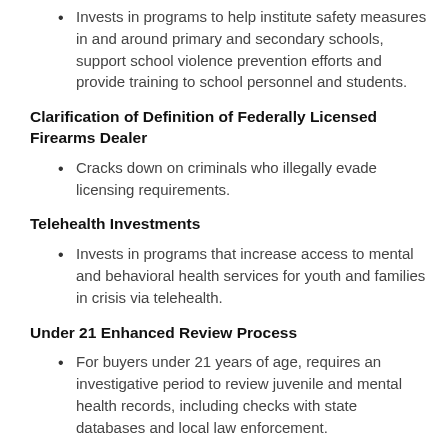Invests in programs to help institute safety measures in and around primary and secondary schools, support school violence prevention efforts and provide training to school personnel and students.
Clarification of Definition of Federally Licensed Firearms Dealer
Cracks down on criminals who illegally evade licensing requirements.
Telehealth Investments
Invests in programs that increase access to mental and behavioral health services for youth and families in crisis via telehealth.
Under 21 Enhanced Review Process
For buyers under 21 years of age, requires an investigative period to review juvenile and mental health records, including checks with state databases and local law enforcement.
Penalties for Straw Purchasing